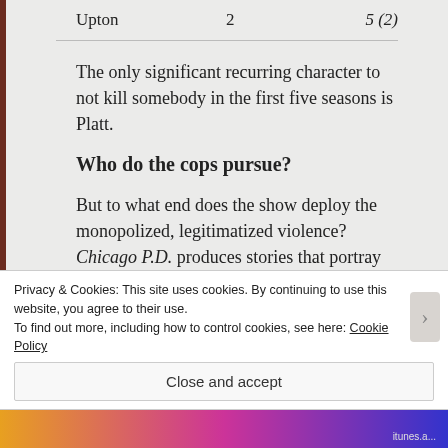| Upton | 2 | 5 (2) |
The only significant recurring character to not kill somebody in the first five seasons is Platt.
Who do the cops pursue?
But to what end does the show deploy the monopolized, legitimatized violence? Chicago P.D. produces stories that portray the U.S. carceral system as not being built around Black Captivity. It
Privacy & Cookies: This site uses cookies. By continuing to use this website, you agree to their use.
To find out more, including how to control cookies, see here: Cookie Policy
Close and accept